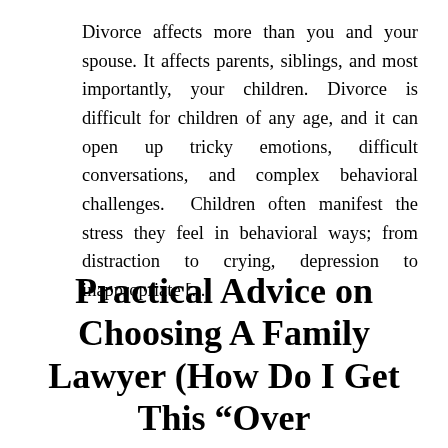Divorce affects more than you and your spouse. It affects parents, siblings, and most importantly, your children. Divorce is difficult for children of any age, and it can open up tricky emotions, difficult conversations, and complex behavioral challenges. Children often manifest the stress they feel in behavioral ways; from distraction to crying, depression to inappropriate [...]
Practical Advice on Choosing A Family Lawyer (How Do I Get This “Over